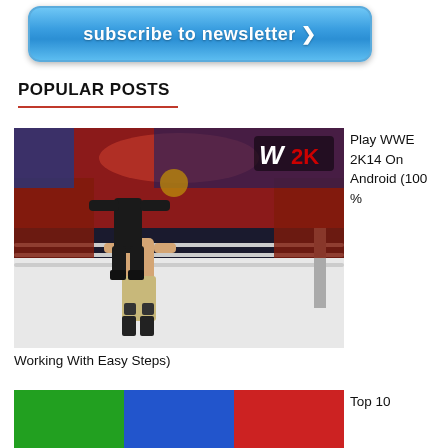[Figure (other): Blue rounded button with text 'subscribe to newsletter >']
POPULAR POSTS
[Figure (photo): WWE 2K14 video game screenshot showing two wrestlers in a wrestling ring with crowd in background. W2K logo visible in top right.]
Play WWE 2K14 On Android (100 %
Working With Easy Steps)
[Figure (photo): Colorful image split into green, blue, and red sections showing wrestlers]
Top 10